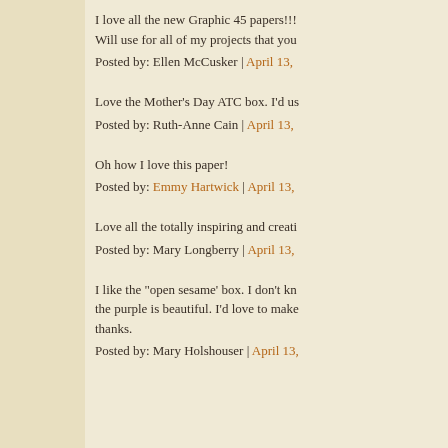I love all the new Graphic 45 papers!!! Will use for all of my projects that you
Posted by: Ellen McCusker | April 13,
Love the Mother's Day ATC box. I'd us
Posted by: Ruth-Anne Cain | April 13,
Oh how I love this paper!
Posted by: Emmy Hartwick | April 13,
Love all the totally inspiring and creati
Posted by: Mary Longberry | April 13,
I like the "open sesame' box. I don't kn the purple is beautiful. I'd love to make thanks.
Posted by: Mary Holshouser | April 13,